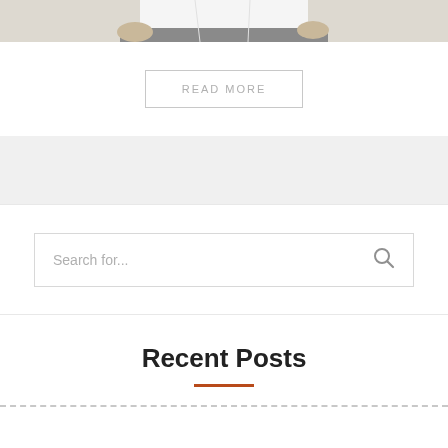[Figure (photo): Partial view of a person wearing a white t-shirt and gray pants, cropped to show torso and hands]
READ MORE
Search for...
Recent Posts